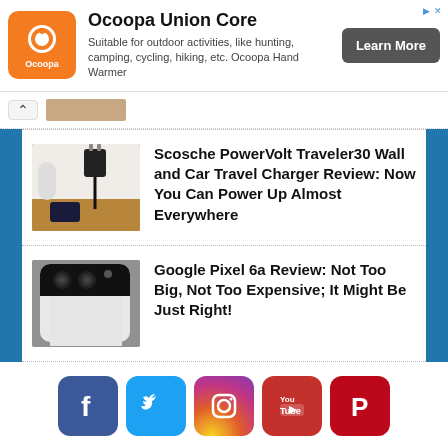[Figure (infographic): Ocoopa Union Core advertisement banner with orange logo, product description, and Learn More button]
[Figure (photo): Partial thumbnail of product image above navigation arrow]
[Figure (photo): Thumbnail of wall charger plugged in with phone charging on wooden surface]
Scosche PowerVolt Traveler30 Wall and Car Travel Charger Review: Now You Can Power Up Almost Everywhere
[Figure (photo): Thumbnail of Google Pixel 6a phone from rear angle showing camera bar]
Google Pixel 6a Review: Not Too Big, Not Too Expensive; It Might Be Just Right!
[Figure (infographic): Social media icons row: Facebook, Twitter, Instagram, YouTube, Pinterest]